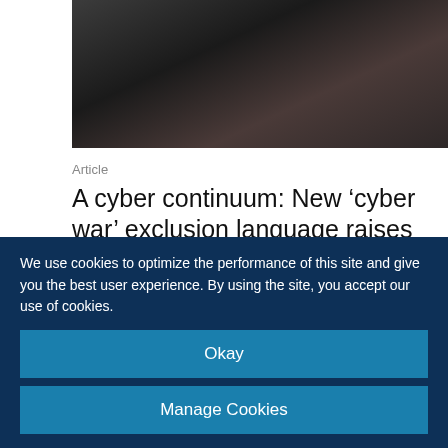[Figure (photo): Dark close-up photo of hands, likely typing or holding something, dark tones]
Article
A cyber continuum: New ‘cyber war’ exclusion language raises concerns
04/02/2022
View more
We use cookies to optimize the performance of this site and give you the best user experience. By using the site, you accept our use of cookies.
Okay
Manage Cookies